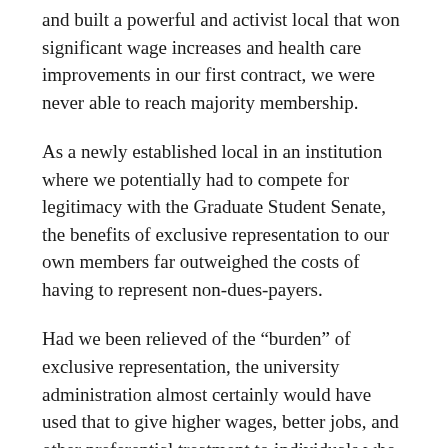and built a powerful and activist local that won significant wage increases and health care improvements in our first contract, we were never able to reach majority membership.
As a newly established local in an institution where we potentially had to compete for legitimacy with the Graduate Student Senate, the benefits of exclusive representation to our own members far outweighed the costs of having to represent non-dues-payers.
Had we been relieved of the “burden” of exclusive representation, the university administration almost certainly would have used that to give higher wages, better jobs, and other preferential treatment to individuals who did not join the union—thus creating an even stronger incentive for people to not join the union than just saving on their dues.